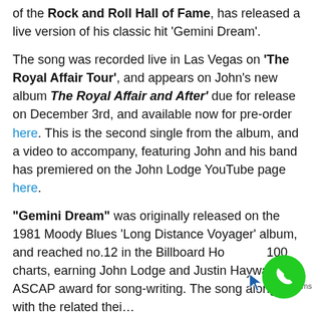of the Rock and Roll Hall of Fame, has released a live version of his classic hit 'Gemini Dream'.
The song was recorded live in Las Vegas on 'The Royal Affair Tour', and appears on John's new album 'The Royal Affair and After' due for release on December 3rd, and available now for pre-order here. This is the second single from the album, and a video to accompany, featuring John and his band has premiered on the John Lodge YouTube page here.
"Gemini Dream" was originally released on the 1981 Moody Blues 'Long Distance Voyager' album, and reached no.12 in the Billboard Hot 100 charts, earning John Lodge and Justin Hayward an ASCAP award for song-writing. The song along with the related...